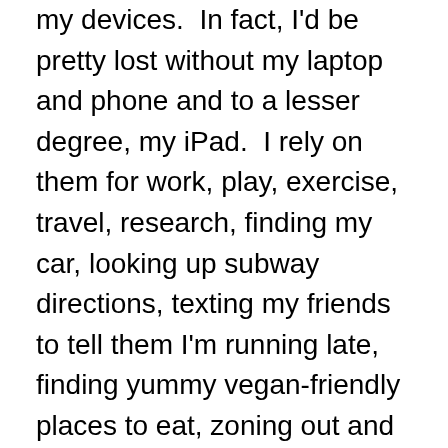my devices.  In fact, I'd be pretty lost without my laptop and phone and to a lesser degree, my iPad.  I rely on them for work, play, exercise, travel, research, finding my car, looking up subway directions, texting my friends to tell them I'm running late, finding yummy vegan-friendly places to eat, zoning out and a zillion other things.
So What's the Problem?
Well, if you are not careful, you could wind up like so many of us